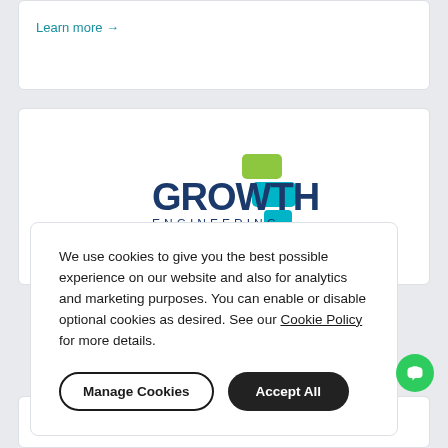Learn more →
[Figure (logo): Growth Engineering logo with chat bubble icons in green and teal]
We use cookies to give you the best possible experience on our website and also for analytics and marketing purposes. You can enable or disable optional cookies as desired. See our Cookie Policy for more details.
Manage Cookies
Accept All
Learn more →